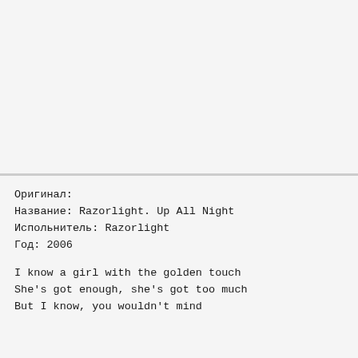Оригинал:
Название: Razorlight. Up All Night
Испольнитель: Razorlight
Год: 2006

I know a girl with the golden touch
She's got enough, she's got too much
But I know, you wouldn't mind